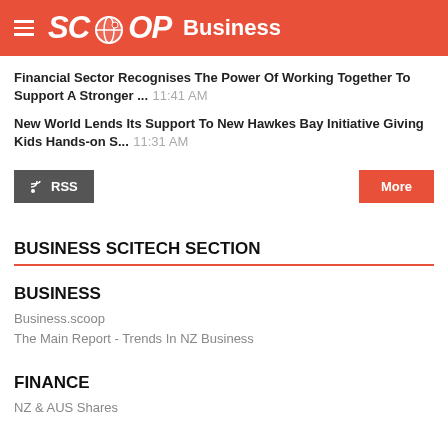SCOOP Business
Financial Sector Recognises The Power Of Working Together To Support A Stronger ... 11:41 AM
New World Lends Its Support To New Hawkes Bay Initiative Giving Kids Hands-on S... 11:31 AM
BUSINESS SCITECH SECTION
BUSINESS
Business.scoop
The Main Report - Trends In NZ Business
FINANCE
NZ & AUS Shares